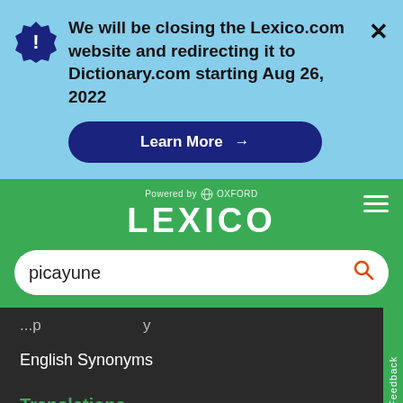We will be closing the Lexico.com website and redirecting it to Dictionary.com starting Aug 26, 2022
Learn More →
[Figure (logo): Lexico logo powered by Oxford, on green background]
picayune
English Synonyms
Translations
Spanish to English
English to Spanish